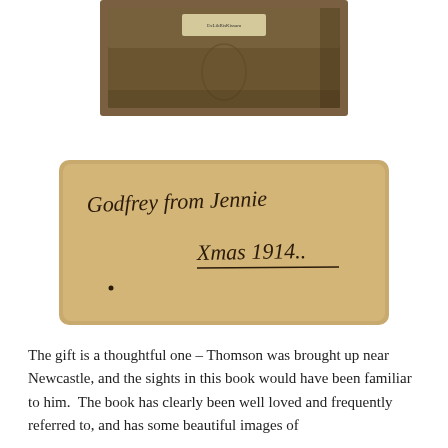[Figure (photo): Photograph of the back cover of an old book, brown/dark wood tones with a small label near the top.]
[Figure (photo): Photograph of an inscription on a tan/buff card reading 'Godfrey from Jennie Xmas 1914.']
The gift is a thoughtful one – Thomson was brought up near Newcastle, and the sights in this book would have been familiar to him.  The book has clearly been well loved and frequently referred to, and has some beautiful images of